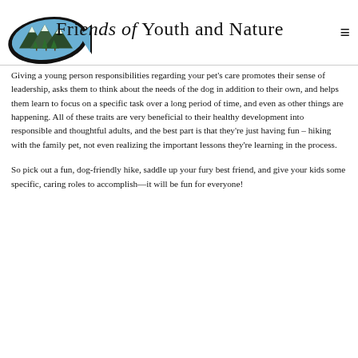Friends of Youth and Nature
Giving a young person responsibilities regarding your pet's care promotes their sense of leadership, asks them to think about the needs of the dog in addition to their own, and helps them learn to focus on a specific task over a long period of time, and even as other things are happening. All of these traits are very beneficial to their healthy development into responsible and thoughtful adults, and the best part is that they're just having fun – hiking with the family pet, not even realizing the important lessons they're learning in the process.
So pick out a fun, dog-friendly hike, saddle up your fury best friend, and give your kids some specific, caring roles to accomplish—it will be fun for everyone!